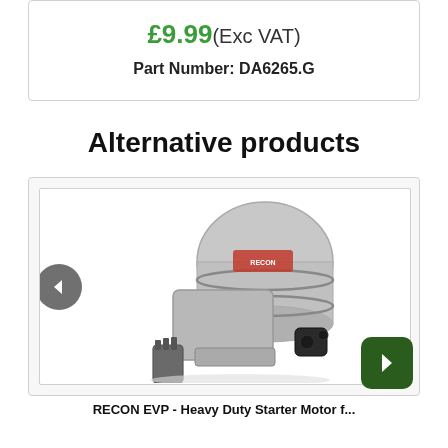£9.99 (Exc VAT)
Part Number: DA6265.G
Alternative products
[Figure (photo): Photograph of a starter motor / alternator automotive part, silver/grey metallic casing with black electrical connector and gear teeth visible at bottom. Red label on the cylindrical body.]
RECON EVP - Heavy Duty Starter Motor f...